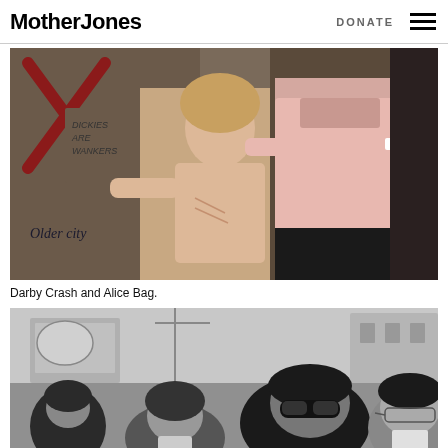Mother Jones | DONATE
[Figure (photo): Color photograph of Darby Crash shirtless with graffiti on wall behind him and Alice Bag in pink sweater beside him]
Darby Crash and Alice Bag.
[Figure (photo): Black and white photograph of several young people standing outdoors in an urban setting, some wearing sunglasses]